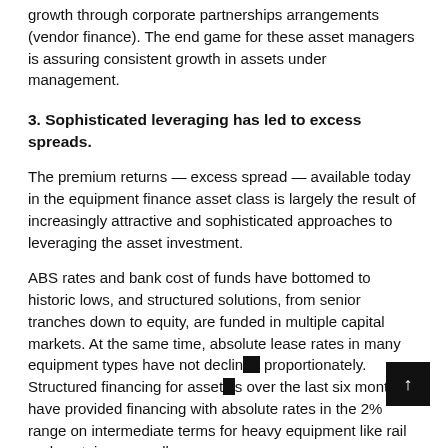growth through corporate partnerships arrangements (vendor finance). The end game for these asset managers is assuring consistent growth in assets under management.
3. Sophisticated leveraging has led to excess spreads.
The premium returns — excess spread — available today in the equipment finance asset class is largely the result of increasingly attractive and sophisticated approaches to leveraging the asset investment.
ABS rates and bank cost of funds have bottomed to historic lows, and structured solutions, from senior tranches down to equity, are funded in multiple capital markets. At the same time, absolute lease rates in many equipment types have not declined proportionately. Structured financing for assets over the last six months have provided financing with absolute rates in the 2% range on intermediate terms for heavy equipment like rail and container as well as